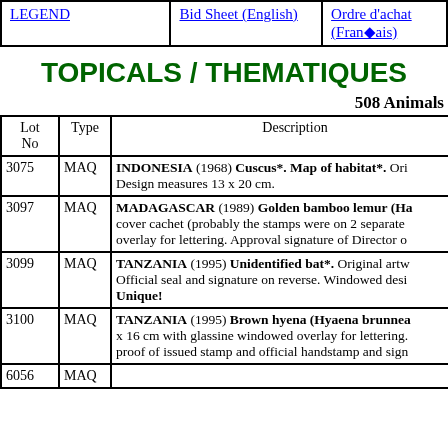| LEGEND | Bid Sheet (English) | Ordre d'achat (Français) |
| --- | --- | --- |
|  |
TOPICALS / THEMATIQUES
508 Animals
| Lot No | Type | Description |
| --- | --- | --- |
| 3075 | MAQ | INDONESIA (1968) Cuscus*. Map of habitat*. Ori... Design measures 13 x 20 cm. |
| 3097 | MAQ | MADAGASCAR (1989) Golden bamboo lemur (Ha... cover cachet (probably the stamps were on 2 separate... overlay for lettering. Approval signature of Director o... |
| 3099 | MAQ | TANZANIA (1995) Unidentified bat*. Original artw... Official seal and signature on reverse. Windowed desi... Unique! |
| 3100 | MAQ | TANZANIA (1995) Brown hyena (Hyaena brunnea... x 16 cm with glassine windowed overlay for lettering.... proof of issued stamp and official handstamp and sign... |
| 6056 | MAQ |  |